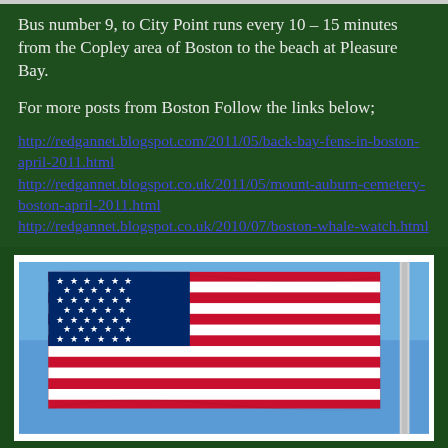Bus number 9, to City Point runs every 10 – 15 minutes from the Copley area of Boston to the beach at Pleasure Bay.
For more posts from Boston Follow the links below;
http://redgannet.blogspot.com/2011/05/back-bay-fens-in-boston-april-2011.html
http://redgannet.blogspot.co.uk/2011/05/mount-auburn-cemetery-boston-april-2011.html
http://redgannet.blogspot.co.uk/2010/07/boston-whale-watch.html
[Figure (photo): American flag waving against a clear blue sky, with a flagpole visible on the right side]